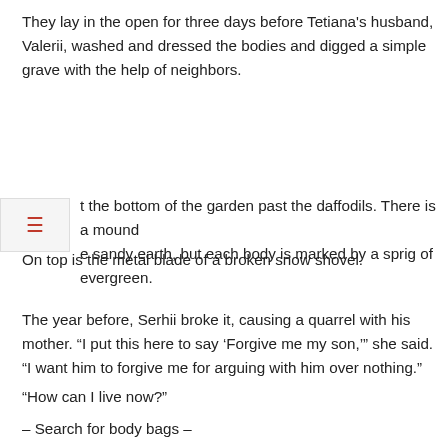They lay in the open for three days before Tetiana's husband, Valerii, washed and dressed the bodies and digged a simple grave with the help of neighbors.
t the bottom of the garden past the daffodils. There is a mound e sandy earth, but each body is marked by a sprig of evergreen. On top is the metal blade of a broken snow shovel.
The year before, Serhii broke it, causing a quarrel with his mother. “I put this here to say ‘Forgive me my son,’” she said. “I want him to forgive me for arguing with him over nothing.”
“How can I live now?”
– Search for body bags –
Onyshchenko arrives to inspect the bodies of Bucha’s war dead at the cemetery. There are about 50 of them, some stacked on top of